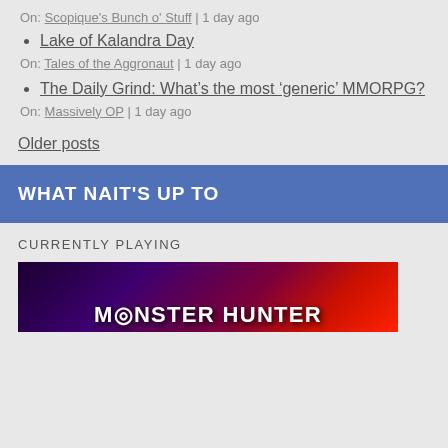On: Scopique's Bunch o' Stuff | 1 day ago
Lake of Kalandra Day
On: Tales of the Aggronaut | 1 day ago
The Daily Grind: What’s the most ‘generic’ MMORPG?
On: Massively OP | 1 day ago
Older posts
WHAT NAIT'S UP TO
CURRENTLY PLAYING
[Figure (photo): Monster Hunter game banner/logo image with red dragon silhouette on dark purple/red background]